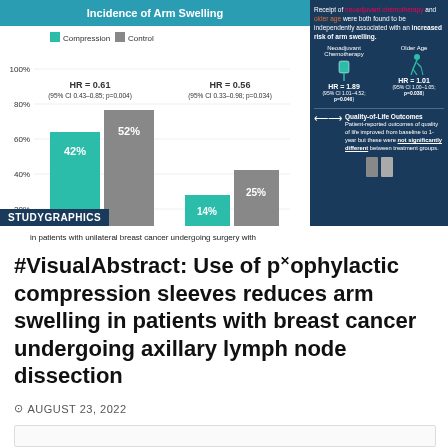[Figure (infographic): Visual abstract infographic showing incidence of arm swelling comparing Compression vs Control groups. Bar chart shows BIS: 42% (Compression) vs 52% (Control) with HR=0.61, and RAVI: 14% (Compression) vs 25% (Control) with HR=0.56. Right panel shows neoadjuvant chemotherapy HR=1.89 and older age HR=1.01 as risk factors, plus quality-of-life outcomes note.]
in patients with unilateral breast cancer undergoing surgery with
#VisualAbstract: Use of prophylactic compression sleeves reduces arm swelling in patients with breast cancer undergoing axillary lymph node dissection
AUGUST 23, 2022